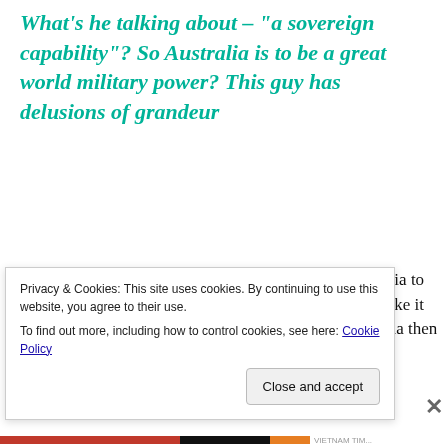What's he talking about – "a sovereign capability"? So Australia is to be a great world military power? This guy has delusions of grandeur
…………….   He says the boats must be built in Australia to ensure Australia has a sovereign capability. That will make it much easier to sustain them ……………  Could Australia then become a sustainment hub for US and UK
Privacy & Cookies: This site uses cookies. By continuing to use this website, you agree to their use.
To find out more, including how to control cookies, see here: Cookie Policy